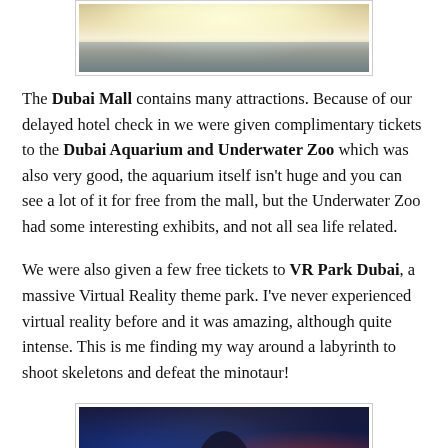[Figure (photo): Top portion of a photo showing fountains with water spray, bright light in the background, reflections visible at the bottom — Dubai Fountain area]
The Dubai Mall contains many attractions. Because of our delayed hotel check in we were given complimentary tickets to the Dubai Aquarium and Underwater Zoo which was also very good, the aquarium itself isn't huge and you can see a lot of it for free from the mall, but the Underwater Zoo had some interesting exhibits, and not all sea life related.
We were also given a few free tickets to VR Park Dubai, a massive Virtual Reality theme park. I've never experienced virtual reality before and it was amazing, although quite intense. This is me finding my way around a labyrinth to shoot skeletons and defeat the minotaur!
[Figure (photo): Photo of a person wearing a VR headset at VR Park Dubai, with dark blue and red lighting in the background, arcade-style equipment visible]